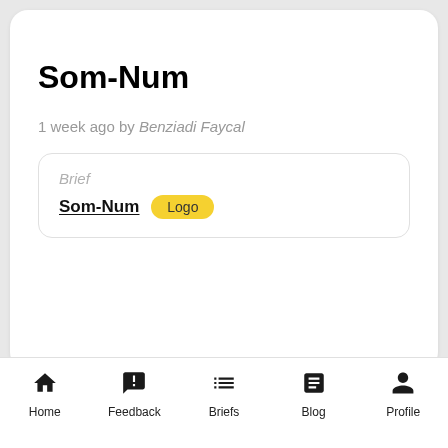Som-Num
1 week ago by Benziadi Faycal
Brief
Som-Num  Logo
Home  Feedback  Briefs  Blog  Profile